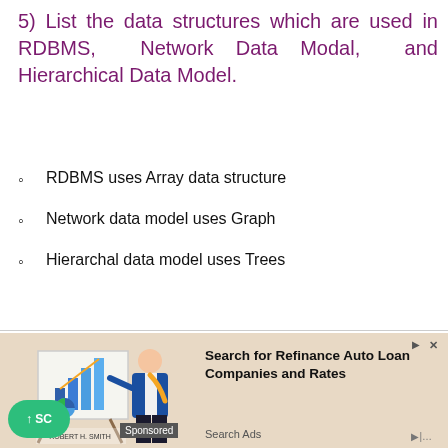5) List the data structures which are used in RDBMS, Network Data Modal, and Hierarchical Data Model.
RDBMS uses Array data structure
Network data model uses Graph
Hierarchal data model uses Trees
[Figure (illustration): Advertisement illustration showing a person in a blue suit pointing at a whiteboard with bar chart and pie chart. Robert H. Smith School of Business logo visible. Ad for Refinance Auto Loan Companies and Rates.]